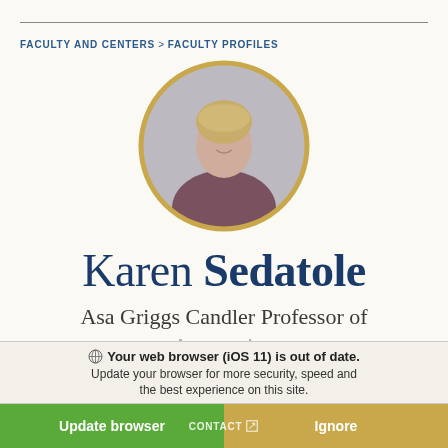FACULTY AND CENTERS > FACULTY PROFILES
[Figure (photo): Circular profile photo of Karen Sedatole, a woman with short blonde hair wearing a dark maroon jacket and a long necklace, smiling, with a gold circular border around the photo.]
Karen Sedatole
Asa Griggs Candler Professor of Accounting
Your web browser (iOS 11) is out of date. Update your browser for more security, speed and the best experience on this site.
Update browser   Ignore